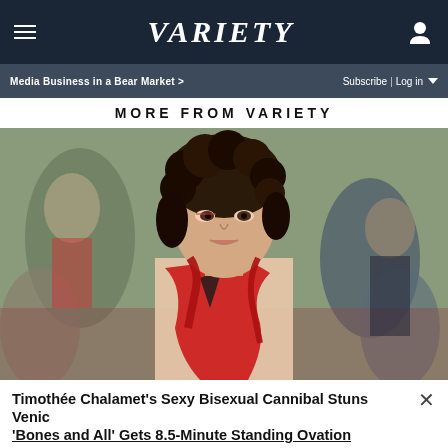VARIETY
Media Business in a Bear Market >
Subscribe | Log in
MORE FROM VARIETY
[Figure (photo): Timothée Chalamet at Venice film festival wearing a red scarf/shawl against a blurred crowd background]
Timothée Chalamet's Sexy Bisexual Cannibal Stuns Venice, 'Bones and All' Gets 8.5-Minute Standing Ovation